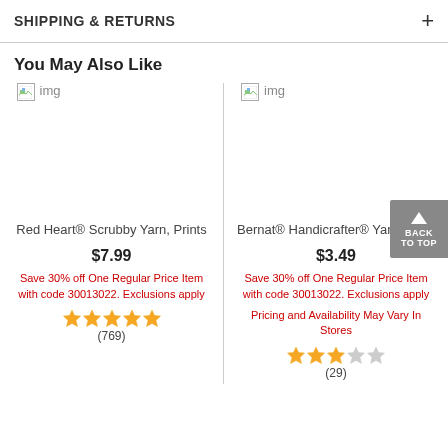SHIPPING & RETURNS
You May Also Like
[Figure (screenshot): Broken image placeholder with 'img' label for Red Heart® Scrubby Yarn, Prints product]
Red Heart® Scrubby Yarn, Prints
$7.99
Save 30% off One Regular Price Item with code 30013022. Exclusions apply
[Figure (other): 5 gold stars rating]
(769)
[Figure (screenshot): Broken image placeholder with 'img' label for Bernat® Handicrafter® Yarn, Solid product]
Bernat® Handicrafter® Yarn, Solid
$3.49
Save 30% off One Regular Price Item with code 30013022. Exclusions apply
Pricing and Availability May Vary In Stores
[Figure (other): 3 gold stars and 2 empty stars rating]
(29)